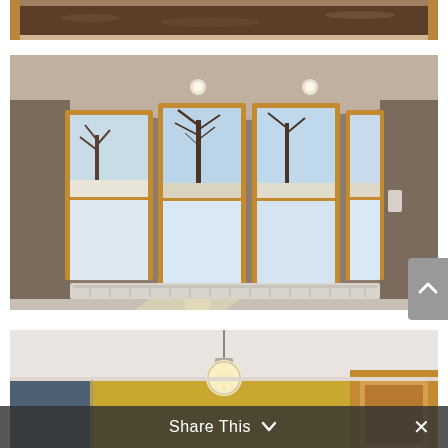[Figure (photo): Partial view of kitchen counter with granite countertop and wooden cabinetry, cropped at top]
[Figure (photo): Interior room with large bay windows with wooden frames showing bare winter trees and snowy landscape outside. Brown taupe walls, carpeted floor, baseboard heater below windows, recessed lighting in curved ceiling soffit.]
[Figure (photo): Partial interior room view showing white ceiling, yellow walls, wood-framed doorway, and a decorative pendant light fixture hanging from ceiling.]
Share This ∨ ✕